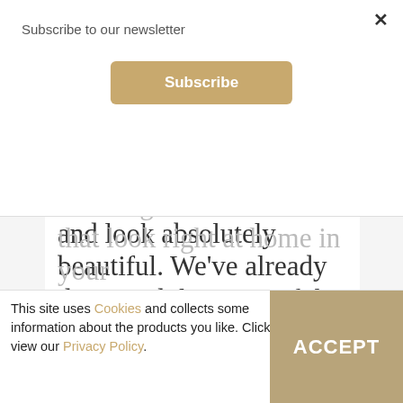Subscribe to our newsletter
Subscribe
colour to any occasion and look absolutely beautiful. We've already discussed the route of the Tennis Bracelet's name, and you can find out more about that here. Here are five stunning Tennis Bracelets that look right at home in your jewellery box!
This site uses Cookies and collects some information about the products you like. Click to view our Privacy Policy.
ACCEPT